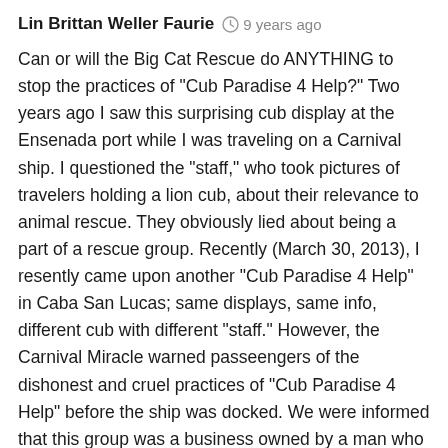Lin Brittan Weller Faurie  9 years ago
Can or will the Big Cat Rescue do ANYTHING to stop the practices of "Cub Paradise 4 Help?" Two years ago I saw this surprising cub display at the Ensenada port while I was traveling on a Carnival ship. I questioned the "staff," who took pictures of travelers holding a lion cub, about their relevance to animal rescue. They obviously lied about being a part of a rescue group. Recently (March 30, 2013), I resently came upon another "Cub Paradise 4 Help" in Caba San Lucas; same displays, same info, different cub with different "staff." However, the Carnival Miracle warned passeengers of the dishonest and cruel practices of "Cub Paradise 4 Help" before the ship was docked. We were informed that this group was a business owned by a man who had become rich through the deceptive practice of keeping cubs drugged while photographing them being held by tourists. We were also told the cubs were not cared for properly and were kept in different homes throughout Mexico. My question is, "Why hasn't any big cat rescue group or internationally well-known rescue group